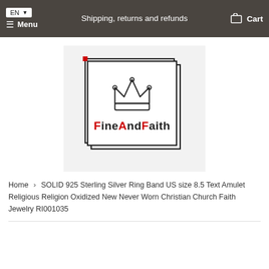EN  Menu  Shipping, returns and refunds  Cart
[Figure (logo): FineAndFaith logo: stacked square frames with a crown icon above the text 'FineAndFaith' where F, A, F are in red and the rest in black]
Home › SOLID 925 Sterling Silver Ring Band US size 8.5 Text Amulet Religious Religion Oxidized New Never Worn Christian Church Faith Jewelry RI001035